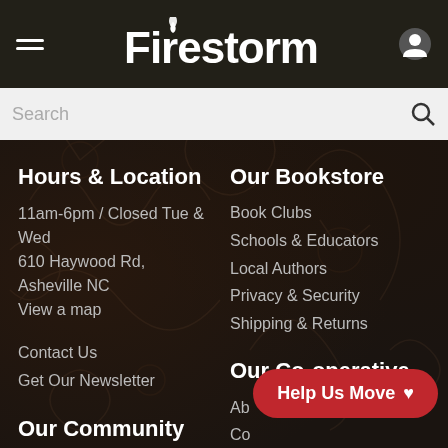Firestorm
Hours & Location
11am-6pm / Closed Tue & Wed
610 Haywood Rd,
Asheville NC
View a map
Contact Us
Get Our Newsletter
Our Bookstore
Book Clubs
Schools & Educators
Local Authors
Privacy & Security
Shipping & Returns
Our Community
Events Calendar
Sustainers Program
Local Resources
Our Co-operative
Ab...
Co...
Anti-Oppression Statement
Help Us Move ♥